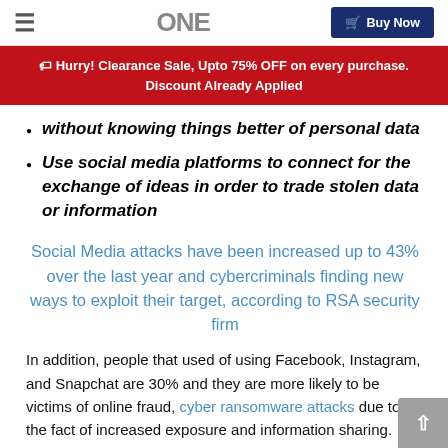ONE | Buy Now
Hurry! Clearance Sale, Upto 75% OFF on every purchase. Discount Already Applied
without knowing things better of personal data
Use social media platforms to connect for the exchange of ideas in order to trade stolen data or information
Social Media attacks have been increased up to 43% over the last year and cybercriminals finding new ways to exploit their target, according to RSA security firm
In addition, people that used of using Facebook, Instagram, and Snapchat are 30% and they are more likely to be victims of online fraud, cyber ransomware attacks due to the fact of increased exposure and information sharing. Online frauds, scams, phishing are